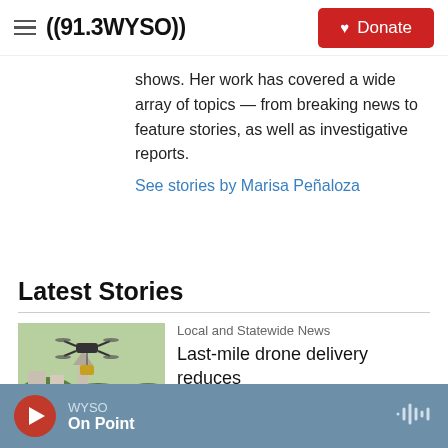((91.3WYSO)) Donate
shows. Her work has covered a wide array of topics — from breaking news to feature stories, as well as investigative reports.
See stories by Marisa Peñaloza
Latest Stories
[Figure (photo): Photo of a drone flying over buildings and trees]
Local and Statewide News
Last-mile drone delivery reduces
WYSO | On Point